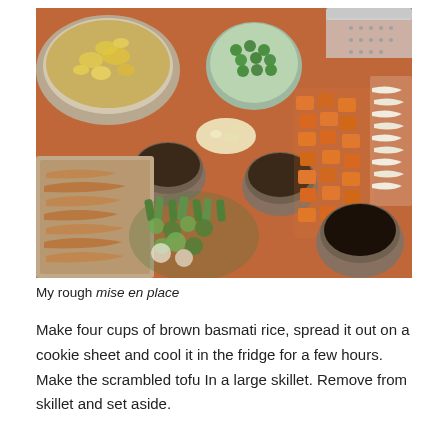[Figure (photo): A cutting board with mise en place ingredients for fried rice: scrambled tofu in a bowl (top left), shelled peas in a glass bowl (top center), chopped garlic (center), diced carrots (right center), shredded onion (far right), chopped green onions (lower center), shredded jackfruit or chicken on a tray (left), and three small metal cups with sauces, plus a large knife and grater in the upper right background.]
My rough mise en place
Make four cups of brown basmati rice, spread it out on a cookie sheet and cool it in the fridge for a few hours. Make the scrambled tofu In a large skillet. Remove from skillet and set aside.